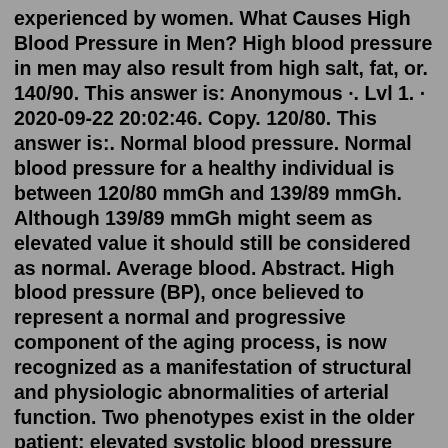experienced by women. What Causes High Blood Pressure in Men? High blood pressure in men may also result from high salt, fat, or. 140/90. This answer is: Anonymous ·. Lvl 1. · 2020-09-22 20:02:46. Copy. 120/80. This answer is:. Normal blood pressure. Normal blood pressure for a healthy individual is between 120/80 mmGh and 139/89 mmGh. Although 139/89 mmGh might seem as elevated value it should still be considered as normal. Average blood. Abstract. High blood pressure (BP), once believed to represent a normal and progressive component of the aging process, is now recognized as a manifestation of structural and physiologic abnormalities of arterial function. Two phenotypes exist in the older patient: elevated systolic blood pressure (SBP) and diastolic blood pressure (DBP) with a normal pulse pressure. For most healthy adults, including seniors, a normal resting heart rate is between 60 and 80 beats per minute. In general, women have slightly higher heart rates than men. Professional athletes may have